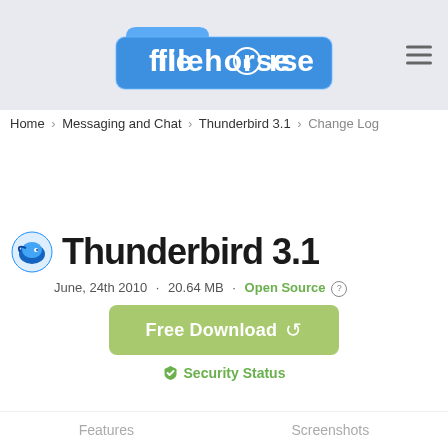[Figure (logo): Filehorse logo — blue folder icon with white text 'filehorse' and a horse silhouette replacing the 'o']
Home › Messaging and Chat › Thunderbird 3.1 › Change Log
Thunderbird 3.1
June, 24th 2010  ·  20.64 MB  ·  Open Source ⊙
[Figure (illustration): Green rounded rectangle button labeled 'Free Download' with a loading spinner icon]
Security Status
Features   Screenshots